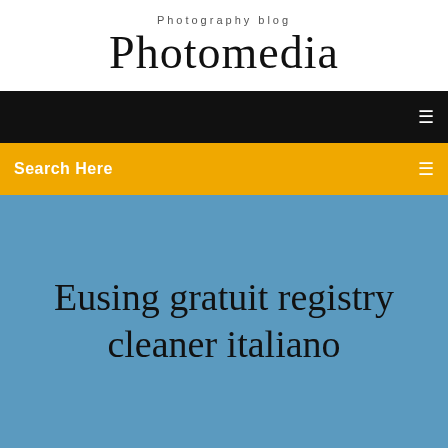Photography blog
Photomedia
Search Here
Eusing gratuit registry cleaner italiano